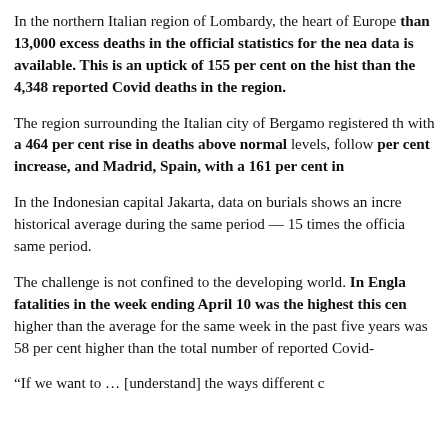In the northern Italian region of Lombardy, the heart of Europe... than 13,000 excess deaths in the official statistics for the nea... data is available. This is an uptick of 155 per cent on the hist... than the 4,348 reported Covid deaths in the region.
The region surrounding the Italian city of Bergamo registered th... with a 464 per cent rise in deaths above normal levels, follow... per cent increase, and Madrid, Spain, with a 161 per cent in...
In the Indonesian capital Jakarta, data on burials shows an incre... historical average during the same period — 15 times the officia... same period.
The challenge is not confined to the developing world. In Engla... fatalities in the week ending April 10 was the highest this cen... higher than the average for the same week in the past five years... was 58 per cent higher than the total number of reported Covid-...
“If we want to … [understand] the ways different c...